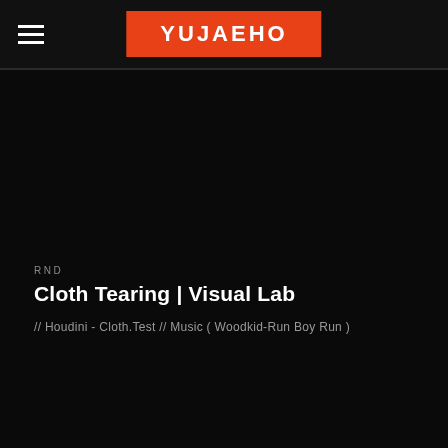YUJAEHO
RND
Cloth Tearing | Visual Lab
// Houdini - Cloth.Test // Music ( Woodkid-Run Boy Run )